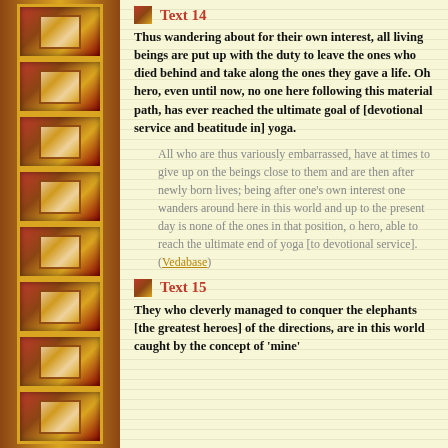Text 14
Thus wandering about for their own interest, all living beings are put up with the duty to leave the ones who died behind and take along the ones they gave a life. Oh hero, even until now, no one here following this material path, has ever reached the ultimate goal of [devotional service and beatitude in] yoga.
All who are thus variously embarrassed, have at times to give up on the beings close to them and are then after newly born lives; being after one's own interest one wanders around here in this world and up to the present day is none of the ones in that position, o hero, able to reach the ultimate end of yoga [to devotional service]. (Vedabase)
Text 15
They who cleverly managed to conquer the elephants [the greatest heroes] of the directions, are in this world caught by the concept of 'mine'